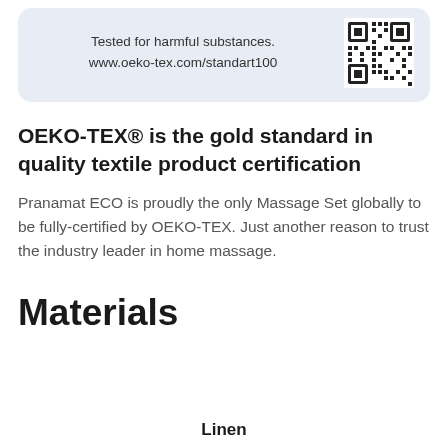[Figure (other): OEKO-TEX banner with text 'Tested for harmful substances. www.oeko-tex.com/standart100' and a QR code on the right, on a light blue-grey rounded background.]
OEKO-TEX® is the gold standard in quality textile product certification
Pranamat ECO is proudly the only Massage Set globally to be fully-certified by OEKO-TEX. Just another reason to trust the industry leader in home massage.
Materials
Linen